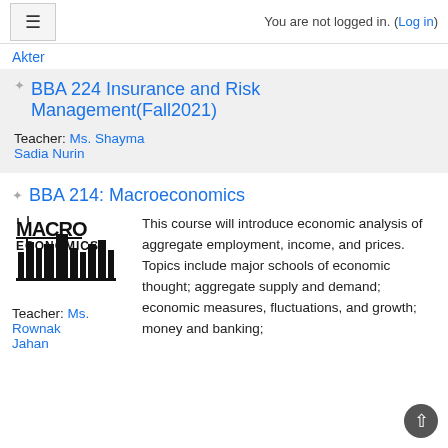You are not logged in. (Log in)
Akter
BBA 224 Insurance and Risk Management(Fall2021)
Teacher: Ms. Shayma Sadia Nurin
BBA 214: Macroeconomics
[Figure (logo): Macroeconomics logo with stylized text and city skyline]
Teacher: Ms. Rownak Jahan
This course will introduce economic analysis of aggregate employment, income, and prices. Topics include major schools of economic thought; aggregate supply and demand; economic measures, fluctuations, and growth; money and banking;